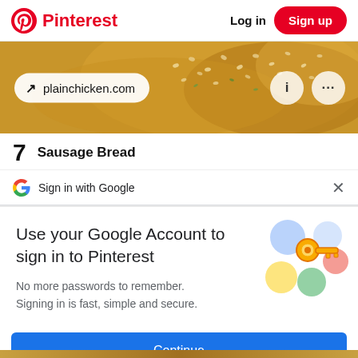[Figure (screenshot): Pinterest website header with red Pinterest logo on left and 'Log in' text and red 'Sign up' button on right]
[Figure (photo): Close-up of baked bread with sesame seeds and herbs, with a URL pill showing 'plainchicken.com' and info/more-options icon circles]
7  Sausage Bread
Sign in with Google
Use your Google Account to sign in to Pinterest
No more passwords to remember. Signing in is fast, simple and secure.
[Figure (illustration): Google key illustration with colorful circular elements (blue, yellow, green, red/pink) and a golden key]
Continue